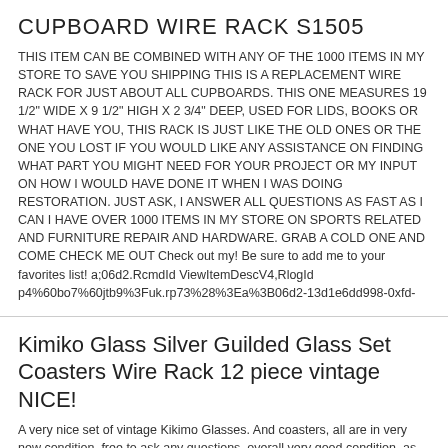CUPBOARD WIRE RACK S1505
THIS ITEM CAN BE COMBINED WITH ANY OF THE 1000 ITEMS IN MY STORE TO SAVE YOU SHIPPING THIS IS A REPLACEMENT WIRE RACK FOR JUST ABOUT ALL CUPBOARDS. THIS ONE MEASURES 19 1/2" WIDE X 9 1/2" HIGH X 2 3/4" DEEP, USED FOR LIDS, BOOKS OR WHAT HAVE YOU, THIS RACK IS JUST LIKE THE OLD ONES OR THE ONE YOU LOST IF YOU WOULD LIKE ANY ASSISTANCE ON FINDING WHAT PART YOU MIGHT NEED FOR YOUR PROJECT OR MY INPUT ON HOW I WOULD HAVE DONE IT WHEN I WAS DOING RESTORATION. JUST ASK, I ANSWER ALL QUESTIONS AS FAST AS I CAN I HAVE OVER 1000 ITEMS IN MY STORE ON SPORTS RELATED AND FURNITURE REPAIR AND HARDWARE. GRAB A COLD ONE AND COME CHECK ME OUT Check out my! Be sure to add me to your favorites list! a;06d2.RcmdId ViewItemDescV4,RlogId p4%60bo7%60jtb9%3Fuk.rp73%28%3Ea%3B06d2-13d1e6dd998-0xfd-
Kimiko Glass Silver Guilded Glass Set Coasters Wire Rack 12 piece vintage NICE!
A very nice set of vintage Kikimo Glasses. And coasters, all are in very new condition, free to ask any questions, overall very good condition. as pictured, SOLD AS IS NO RETURNS, unless item is not as described, HOPEFULLY MY PICTURES ARE CLEAR ENOUGH,please let me know if you need more pictures or details. SHIPPING IN THE CONTINENTAL USA ONLY UNLESS YOU TALK TO ME FIRST. PAYPAL ONLY UNLESS WE HAVE MADE ARRANGMENTS FIRST.